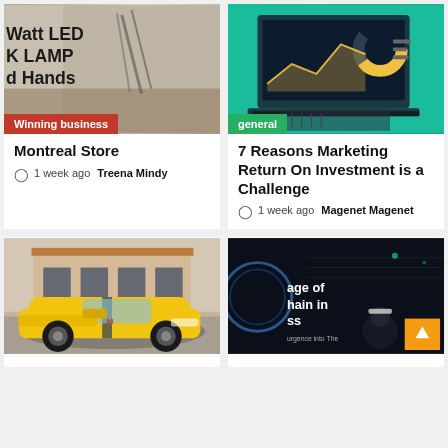[Figure (photo): Photo of a desk with lamp and pencils, partially cropped showing text: Watt LED K LAMP d Hands]
Winning business
Montreal Store
1 week ago  Treena Mindy
[Figure (illustration): Illustration of a laptop displaying a dashboard with charts and graphs, green/teal background, category badge: general]
general
7 Reasons Marketing Return On Investment is a Challenge
1 week ago  Magenet Magenet
[Figure (photo): Photo of a yellow muscle car (Dodge Challenger style) with racing stripe parked in front of a building with arched windows]
[Figure (photo): Dark tech/blockchain themed image with text: age of hain in ss, and a woman in white hat, orange up-arrow button in corner]